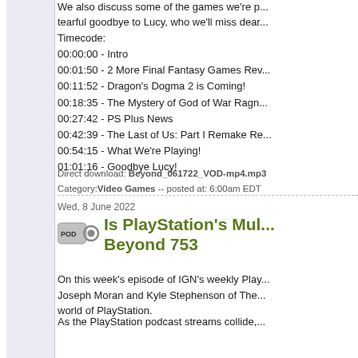We also discuss some of the games we're p... tearful goodbye to Lucy, who we'll miss dear...
Timecode:
00:00:00 - Intro
00:01:50 - 2 More Final Fantasy Games Rev...
00:11:52 - Dragon's Dogma 2 is Coming!
00:18:35 - The Mystery of God of War Ragn...
00:27:42 - PS Plus News
00:42:39 - The Last of Us: Part I Remake Re...
00:54:15 - What We're Playing!
01:01:16 - Goodbye Lucy!
Direct download: Beyond_061722_VOD-mp4.mp3
Category: Video Games -- posted at: 6:00am EDT
Wed, 8 June 2022
Is PlayStation's Mu... Beyond 753
On this week's episode of IGN's weekly Play... Joseph Moran and Kyle Stephenson of The... world of PlayStation.
As the PlayStation podcast streams collide,... Duty: Modern Warfare II's reveal trailer, Jose... the Modern Warfare series. Then, hot off the... on the open world ideas of Days Gone and f... multiplayer future. With reported or rumored... Haven, London Studio, and many more, we... its multiplayer focus. We discuss why we thi... past successes like Ghost of Tsushima: Leg... multiplayer, why we don't think this will be th... variety in PlayStation multiplayer games we...
We also take a look at the announcement...